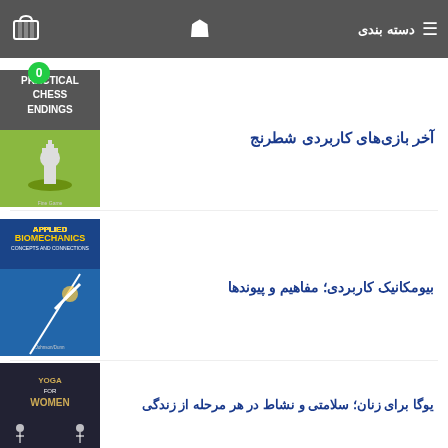دسته بندی
آخر بازی‌های کاربردی شطرنج
[Figure (photo): Book cover: Practical Chess Endings, green background with white chess king piece]
بیومکانیک کاربردی؛ مفاهیم و پیوندها
[Figure (photo): Book cover: Applied Biomechanics Concepts and Connections, Second Edition, blue cover with athlete pole vaulting]
یوگا برای زنان؛ سلامتی و نشاط در هر مرحله از زندگی
[Figure (photo): Book cover: Yoga for Women, dark cover with yoga poses silhouettes]
[Figure (photo): Book cover: Tennis (partially visible at bottom)]